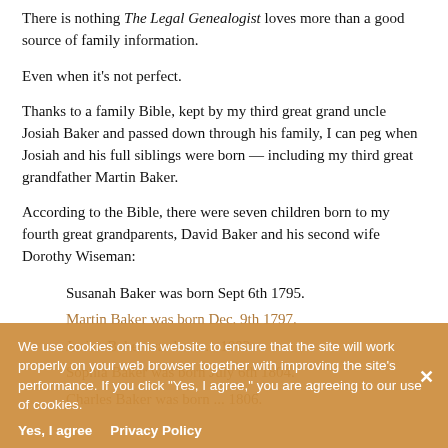There is nothing The Legal Genealogist loves more than a good source of family information.
Even when it's not perfect.
Thanks to a family Bible, kept by my third great grand uncle Josiah Baker and passed down through his family, I can peg when Josiah and his full siblings were born — including my third great grandfather Martin Baker.
According to the Bible, there were seven children born to my fourth great grandparents, David Baker and his second wife Dorothy Wiseman:
Susanah Baker was born Sept 6th 1795.
Martin Baker was born Dec. 9th 1797.
Sophia Baker was born July 6th 1804.
Charles Baker was born ... 1806.
We use cookies on this website to ensure that the site will work properly on your web browser together with improving the site's performance. If you click "Yes, I agree," you are agreeing to our use of cookies.